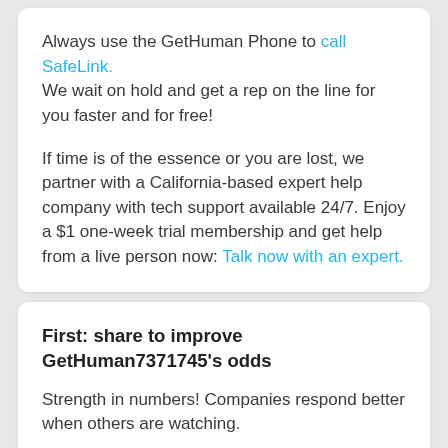Always use the GetHuman Phone to call SafeLink. We wait on hold and get a rep on the line for you faster and for free!
If time is of the essence or you are lost, we partner with a California-based expert help company with tech support available 24/7. Enjoy a $1 one-week trial membership and get help from a live person now: Talk now with an expert.
First: share to improve GetHuman7371745's odds
Strength in numbers! Companies respond better when others are watching.
[Figure (other): Four social sharing buttons: Facebook (blue), Twitter (light blue), Email (red), WhatsApp (green)]